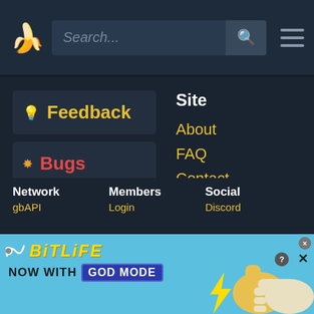Search... [search button] [hamburger menu]
💡 Feedback
🐛 Bugs
🔴 Support
Site
About
FAQ
Contact
Network
gbAPI
Members
Login
Social
Discord
[Figure (illustration): BitLife advertisement banner: NOW WITH GOD MODE, showing thumbs up hand and pointing hand, with lightning bolt, on light blue background]